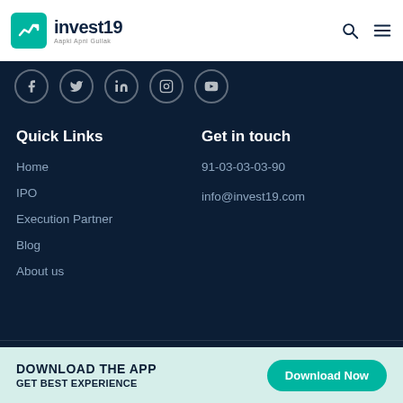invest19 - Aapki Apni Gullak
[Figure (logo): invest19 logo with teal background and white chart icon, tagline Aapki Apni Gullak]
Quick Links
Home
IPO
Execution Partner
Blog
About us
Get in touch
91-03-03-03-90
info@invest19.com
DOWNLOAD THE APP
GET BEST EXPERIENCE
Download Now